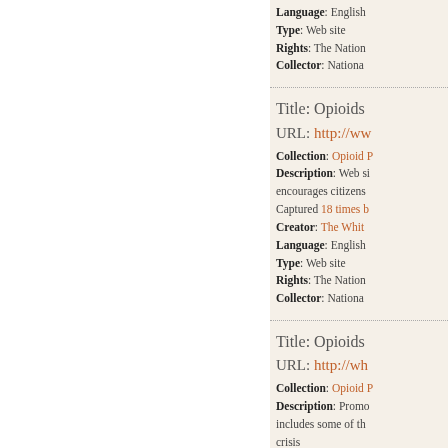Language: English
Type: Web site
Rights: The Nation...
Collector: Nationa...
Title: Opioids...
URL: http://ww...
Collection: Opioid P...
Description: Web si... encourages citizens... Captured 18 times b...
Creator: The Whit...
Language: English
Type: Web site
Rights: The Nation...
Collector: Nationa...
Title: Opioids...
URL: http://wh...
Collection: Opioid P...
Description: Promo... includes some of th... crisis